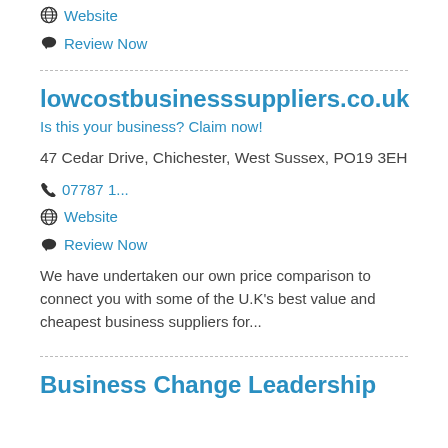Website
Review Now
lowcostbusinesssuppliers.co.uk
Is this your business? Claim now!
47 Cedar Drive, Chichester, West Sussex, PO19 3EH
07787 1...
Website
Review Now
We have undertaken our own price comparison to connect you with some of the U.K's best value and cheapest business suppliers for...
Business Change Leadership